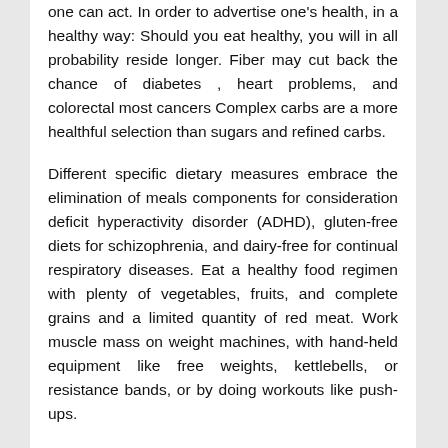one can act. In order to advertise one's health, in a healthy way: Should you eat healthy, you will in all probability reside longer. Fiber may cut back the chance of diabetes , heart problems, and colorectal most cancers Complex carbs are a more healthful selection than sugars and refined carbs.
Different specific dietary measures embrace the elimination of meals components for consideration deficit hyperactivity disorder (ADHD), gluten-free diets for schizophrenia, and dairy-free for continual respiratory diseases. Eat a healthy food regimen with plenty of vegetables, fruits, and complete grains and a limited quantity of red meat. Work muscle mass on weight machines, with hand-held equipment like free weights, kettlebells, or resistance bands, or by doing workouts like push-ups.